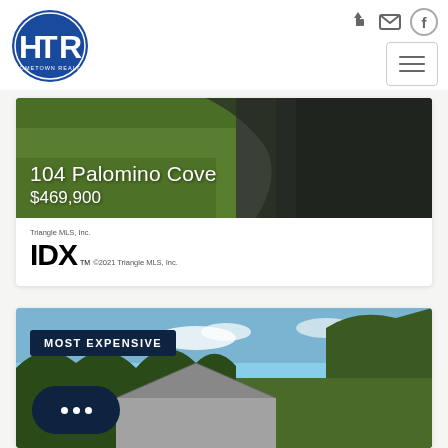[Figure (logo): HTR Hometown Realty oval blue logo]
[Figure (screenshot): Navigation icons: sign-in, email, Facebook circle, hamburger menu button]
[Figure (photo): Aerial photo of 104 Palomino Cove showing green field and water/river]
104 Palomino Cove
$469,900
[Figure (logo): Triangle MLS, Inc. IDX logo with copyright 2021 Triangle MLS, Inc.]
[Figure (photo): Photo of a residential house with trees and sky, labeled MOST EXPENSIVE]
MOST EXPENSIVE
[Figure (other): Dark chat bubble widget with three dots]